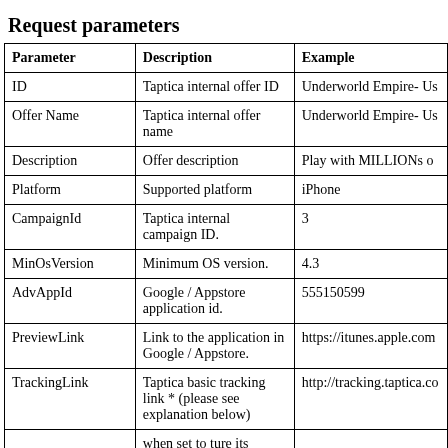Request parameters
| Parameter | Description | Example |
| --- | --- | --- |
| ID | Taptica internal offer ID | Underworld Empire- Us |
| Offer Name | Taptica internal offer name | Underworld Empire- Us |
| Description | Offer description | Play with MILLIONs o |
| Platform | Supported platform | iPhone |
| CampaignId | Taptica internal campaign ID. | 3 |
| MinOsVersion | Minimum OS version. | 4.3 |
| AdvAppId | Google / Appstore application id. | 555150599 |
| PreviewLink | Link to the application in Google / Appstore. | https://itunes.apple.com |
| TrackingLink | Taptica basic tracking link * (please see explanation below) | http://tracking.taptica.co |
|  | when set to ture its |  |